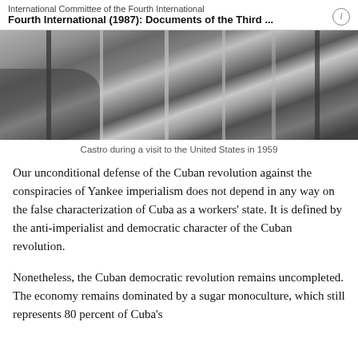International Committee of the Fourth International
Fourth International (1987): Documents of the Third ...
[Figure (photo): Black and white photograph of Castro at microphones/microphone stands during a visit to the United States in 1959]
Castro during a visit to the United States in 1959
Our unconditional defense of the Cuban revolution against the conspiracies of Yankee imperialism does not depend in any way on the false characterization of Cuba as a workers' state. It is defined by the anti-imperialist and democratic character of the Cuban revolution.
Nonetheless, the Cuban democratic revolution remains uncompleted. The economy remains dominated by a sugar monoculture, which still represents 80 percent of Cuba's ...